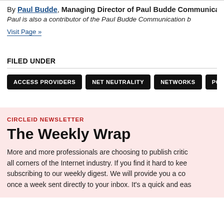By Paul Budde, Managing Director of Paul Budde Communica...
Paul is also a contributor of the Paul Budde Communication b...
Visit Page »
FILED UNDER
ACCESS PROVIDERS
NET NEUTRALITY
NETWORKS
POLICY &...
CIRCLEID NEWSLETTER
The Weekly Wrap
More and more professionals are choosing to publish critica... all corners of the Internet industry. If you find it hard to keep... subscribing to our weekly digest. We will provide you a com... once a week sent directly to your inbox. It's a quick and eas...